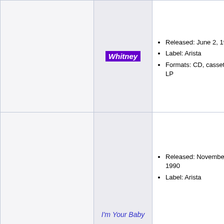| (image) | Album | Details | Col1 | Col2 | Col3 |
| --- | --- | --- | --- | --- | --- |
|  | Whitney | Released: June 2, 1987
Label: Arista
Formats: CD, cassette, LP | 1 | 2 | 1 |
|  | I'm Your Baby | Released: November 4, 1990
Label: Arista | 3 | 1 | 10 |